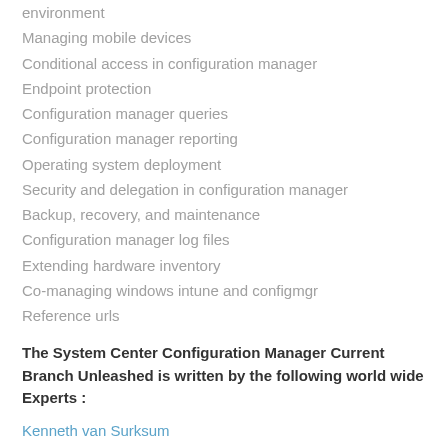environment
Managing mobile devices
Conditional access in configuration manager
Endpoint protection
Configuration manager queries
Configuration manager reporting
Operating system deployment
Security and delegation in configuration manager
Backup, recovery, and maintenance
Configuration manager log files
Extending hardware inventory
Co-managing windows intune and configmgr
Reference urls
The System Center Configuration Manager Current Branch Unleashed is written by the following world wide Experts :
Kenneth van Surksum